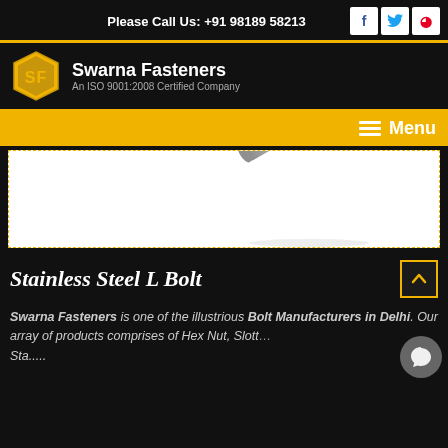Please Call Us: +91 98189 58213
[Figure (logo): Swarna Fasteners logo - hexagonal SF emblem in yellow/gold]
Swarna Fasteners
An ISO 9001:2008 Certified Company
Menu
[Figure (photo): Stainless steel rod/bolt product image on white background]
Stainless Steel L Bolt
Swarna Fasteners is one of the illustrious Bolt Manufacturers in Delhi. Our array of products comprises of Hex Nut, Slott... Sta.....